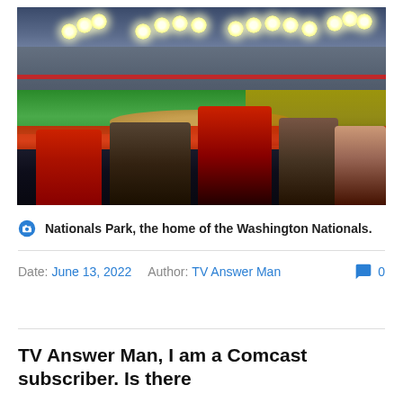[Figure (photo): Stadium photo of Nationals Park showing the baseball field, bright stadium lights against a cloudy evening sky, fans in red apparel seated in the foreground, and the large multi-tiered grandstand in the background.]
Nationals Park, the home of the Washington Nationals.
Date: June 13, 2022  Author: TV Answer Man  💬 0
TV Answer Man, I am a Comcast subscriber. Is there